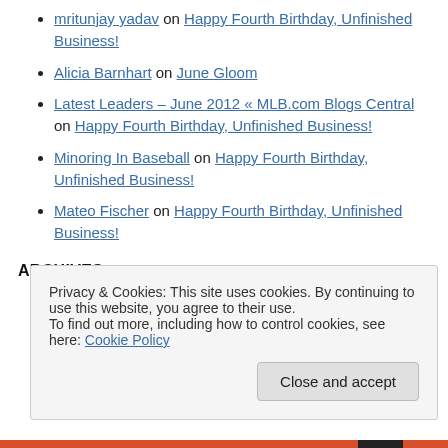mritunjay yadav on Happy Fourth Birthday, Unfinished Business!
Alicia Barnhart on June Gloom
Latest Leaders – June 2012 « MLB.com Blogs Central on Happy Fourth Birthday, Unfinished Business!
Minoring In Baseball on Happy Fourth Birthday, Unfinished Business!
Mateo Fischer on Happy Fourth Birthday, Unfinished Business!
ARCHIVES
July 2013
Privacy & Cookies: This site uses cookies. By continuing to use this website, you agree to their use. To find out more, including how to control cookies, see here: Cookie Policy